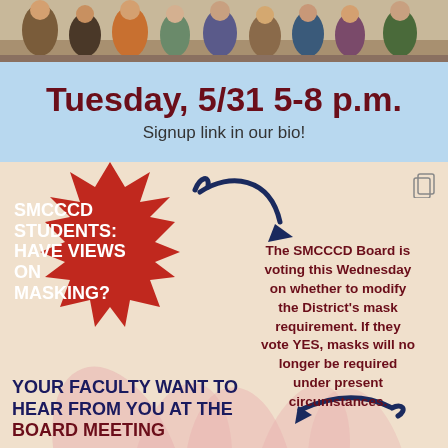[Figure (photo): Group of people standing together, photo banner at top of post]
Tuesday, 5/31 5-8 p.m.
Signup link in our bio!
[Figure (infographic): Red starburst with text 'SMCCCD STUDENTS: HAVE VIEWS ON MASKING?' with arrow pointing to text about SMCCCD Board voting on mask requirement. Bottom text reads 'YOUR FACULTY WANT TO HEAR FROM YOU AT THE BOARD MEETING']
The SMCCCD Board is voting this Wednesday on whether to modify the District's mask requirement. If they vote YES, masks will no longer be required under present circumstances.
YOUR FACULTY WANT TO HEAR FROM YOU AT THE